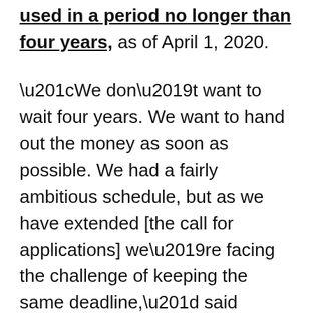used in a period no longer than four years, as of April 1, 2020.
“We don’t want to wait four years. We want to hand out the money as soon as possible. We had a fairly ambitious schedule, but as we have extended [the call for applications] we’re facing the challenge of keeping the same deadline,” said Delgado, who preferred not to reveal the date on which they expected to have completed the delivery of the funds.
The president of Fepdemar believes the low participation rate of fishermen responds to